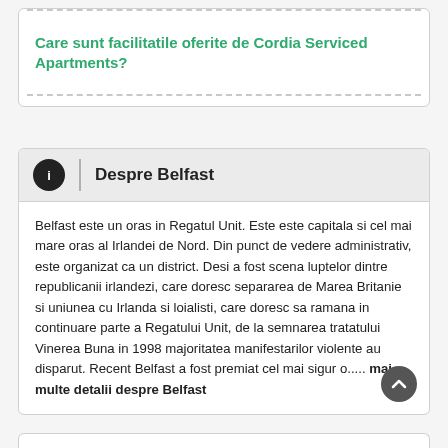Care sunt facilitatile oferite de Cordia Serviced Apartments?
Despre Belfast
Belfast este un oras in Regatul Unit. Este este capitala si cel mai mare oras al Irlandei de Nord. Din punct de vedere administrativ, este organizat ca un district. Desi a fost scena luptelor dintre republicanii irlandezi, care doresc separarea de Marea Britanie si uniunea cu Irlanda si loialisti, care doresc sa ramana in continuare parte a Regatului Unit, de la semnarea tratatului Vinerea Buna in 1998 majoritatea manifestarilor violente au disparut. Recent Belfast a fost premiat cel mai sigur o..... mai multe detalii despre Belfast